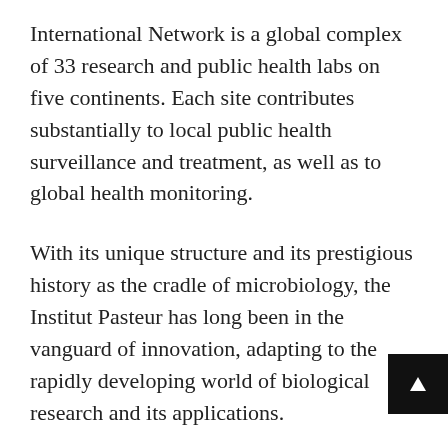International Network is a global complex of 33 research and public health labs on five continents. Each site contributes substantially to local public health surveillance and treatment, as well as to global health monitoring.
With its unique structure and its prestigious history as the cradle of microbiology, the Institut Pasteur has long been in the vanguard of innovation, adapting to the rapidly developing world of biological research and its applications.
The current priorities of the Institut include: